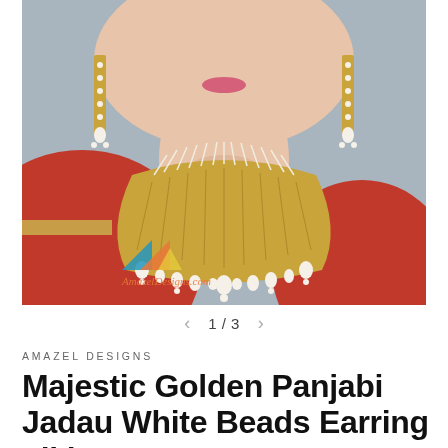[Figure (photo): Woman wearing a majestic golden Punjabi jadau bridal necklace set with white pearl beads, dangling pearl drops, and matching long earrings. She is dressed in a red outfit with a gold border. An AmazelDesigns.com watermark logo appears on the lower left of the image.]
1 / 3
AMAZEL DESIGNS
Majestic Golden Panjabi Jadau White Beads Earring Tikka